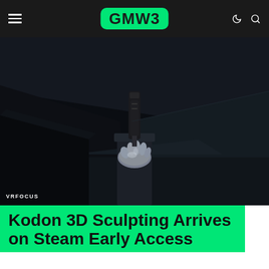GMW3 navigation bar with hamburger menu, GMW3 logo, and search/dark-mode icons
[Figure (screenshot): Dark 3D scene showing a VR sculpting environment with a metallic figure/hand sculpture on a pedestal, dark room with black walls and a starry space background visible through the window. VRFOCUS watermark in lower left.]
Kodon 3D Sculpting Arrives on Steam Early Access